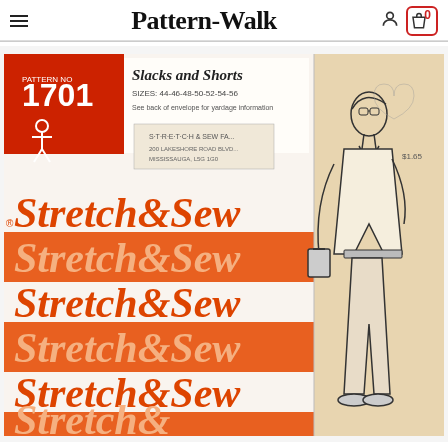Pattern-Walk
[Figure (photo): Stretch & Sew sewing pattern envelope #1701 for Slacks and Shorts, sizes 44-46-48-50-52-54-56. Left side shows orange/white brand pattern with 'Stretch & Sew' repeated in orange italic script on white and orange alternating sections. Right side shows a line drawing illustration of a man wearing slacks, shirt, and tie with glasses, holding a briefcase. Top left has a red diagonal label showing pattern number 1701. A stamp from 'Stretch & Sew' store in Mississauga is visible.]